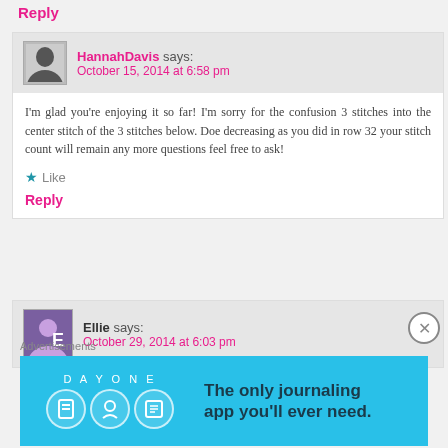Reply
HannahDavis says:
October 15, 2014 at 6:58 pm
I'm glad you're enjoying it so far! I'm sorry for the confusion 3 stitches into the center stitch of the 3 stitches below. Doe decreasing as you did in row 32 your stitch count will remain any more questions feel free to ask!
★ Like
Reply
Ellie says:
October 29, 2014 at 6:03 pm
Advertisements
[Figure (illustration): Day One journaling app advertisement banner on blue background with icons and text 'The only journaling app you'll ever need.']